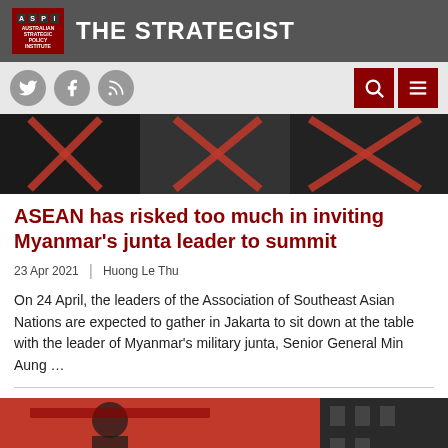THE STRATEGIST — Australian Strategic Policy Institute
[Figure (photo): Hero image: faces of military figures with red X marks overlaid]
ASEAN has risked too much in inviting Myanmar's junta leader to summit
23 Apr 2021  |  Huong Le Thu
On 24 April, the leaders of the Association of Southeast Asian Nations are expected to gather in Jakarta to sit down at the table with the leader of Myanmar's military junta, Senior General Min Aung …
[Figure (photo): Bottom image: Vietnamese propaganda poster with red background and stylized figure, partially visible]